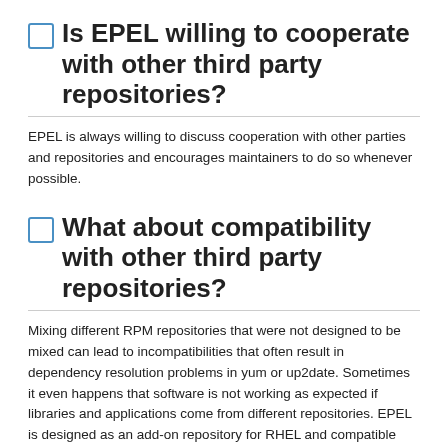Is EPEL willing to cooperate with other third party repositories?
EPEL is always willing to discuss cooperation with other parties and repositories and encourages maintainers to do so whenever possible.
What about compatibility with other third party repositories?
Mixing different RPM repositories that were not designed to be mixed can lead to incompatibilities that often result in dependency resolution problems in yum or up2date. Sometimes it even happens that software is not working as expected if libraries and applications come from different repositories. EPEL is designed as an add-on repository for RHEL and compatible derivatives. The best way to avoid problems is to avoid mixing EPEL with other third party repositories that have conflicting packages on the same system. Some people nevertheless do it and the yum priorities plugin can help to avoid the worst problems.